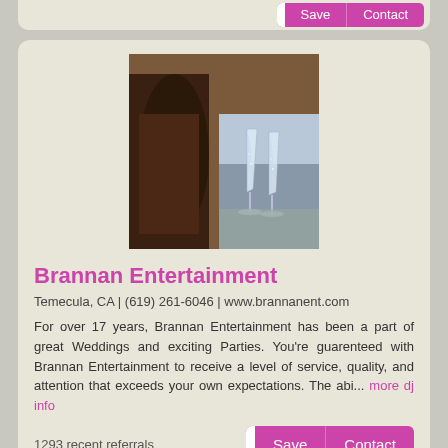[Figure (screenshot): Top strip of a previous vendor card with pink/magenta Save and Contact buttons partially visible]
[Figure (photo): Photo of two champagne flutes on a table with a person's torso visible in the background]
Brannan Entertainment
Temecula, CA | (619) 261-6046 | www.brannanent.com
For over 17 years, Brannan Entertainment has been a part of great Weddings and exciting Parties. You're guarenteed with Brannan Entertainment to receive a level of service, quality, and attention that exceeds your own expectations. The abi... more dj info
1293 recent referrals
[Figure (screenshot): Bottom strip of next vendor card with colorful image partially visible at bottom]